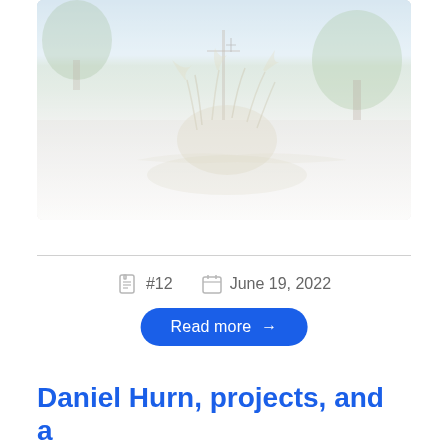[Figure (photo): Outdoor photo showing a rural road scene with plants, grass, utility poles, and trees in the background. The image is heavily faded/washed out with a white overlay.]
#12   June 19, 2022
Read more →
Daniel Hurn, projects, and a